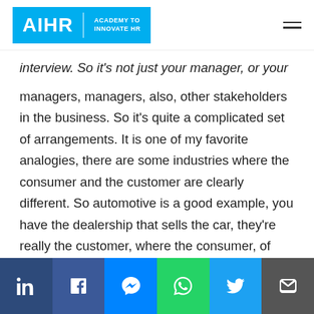AIHR | ACADEMY TO INNOVATE HR
interview. So it's not just your manager, or your managers, managers, also, other stakeholders in the business. So it's quite a complicated set of arrangements. It is one of my favorite analogies, there are some industries where the consumer and the customer are clearly different. So automotive is a good example, you have the dealership that sells the car, they're really the customer, where the consumer, of course, is the person who buys the car from the dealership…
Social share bar: LinkedIn, Facebook, Messenger, WhatsApp, Twitter, Email